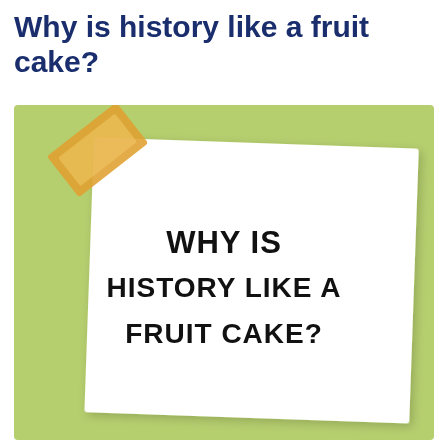Why is history like a fruit cake?
[Figure (illustration): A light green rectangular background with a white note card slightly tilted, held by a piece of golden/tan tape in the upper-left corner. The note card contains the text 'WHY IS HISTORY LIKE A FRUIT CAKE?' in bold uppercase handwritten-style font.]